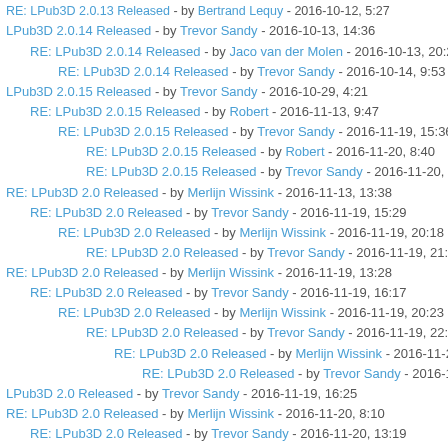RE: LPub3D 2.0.13 Released - by Bertrand Lequy - 2016-10-12, 5:27
LPub3D 2.0.14 Released - by Trevor Sandy - 2016-10-13, 14:36
RE: LPub3D 2.0.14 Released - by Jaco van der Molen - 2016-10-13, 20:21
RE: LPub3D 2.0.14 Released - by Trevor Sandy - 2016-10-14, 9:53
LPub3D 2.0.15 Released - by Trevor Sandy - 2016-10-29, 4:21
RE: LPub3D 2.0.15 Released - by Robert - 2016-11-13, 9:47
RE: LPub3D 2.0.15 Released - by Trevor Sandy - 2016-11-19, 15:36
RE: LPub3D 2.0.15 Released - by Robert - 2016-11-20, 8:40
RE: LPub3D 2.0.15 Released - by Trevor Sandy - 2016-11-20, 14:15
RE: LPub3D 2.0 Released - by Merlijn Wissink - 2016-11-13, 13:38
RE: LPub3D 2.0 Released - by Trevor Sandy - 2016-11-19, 15:29
RE: LPub3D 2.0 Released - by Merlijn Wissink - 2016-11-19, 20:18
RE: LPub3D 2.0 Released - by Trevor Sandy - 2016-11-19, 21:44
RE: LPub3D 2.0 Released - by Merlijn Wissink - 2016-11-19, 13:28
RE: LPub3D 2.0 Released - by Trevor Sandy - 2016-11-19, 16:17
RE: LPub3D 2.0 Released - by Merlijn Wissink - 2016-11-19, 20:23
RE: LPub3D 2.0 Released - by Trevor Sandy - 2016-11-19, 22:04
RE: LPub3D 2.0 Released - by Merlijn Wissink - 2016-11-20, 7:50
RE: LPub3D 2.0 Released - by Trevor Sandy - 2016-11-20, 12:58
LPub3D 2.0 Released - by Trevor Sandy - 2016-11-19, 16:25
RE: LPub3D 2.0 Released - by Merlijn Wissink - 2016-11-20, 8:10
RE: LPub3D 2.0 Released - by Trevor Sandy - 2016-11-20, 13:19
RE: LPub3D 2.0 Released - by Merlijn Wissink - 2016-11-20, 13:52
RE: LPub3D 2.0 Released - by Trevor Sandy - 2016-11-20, 14:28
RE: LPub3D 2.0 Released - by Merlijn Wissink - 2016-11-20, 18:25